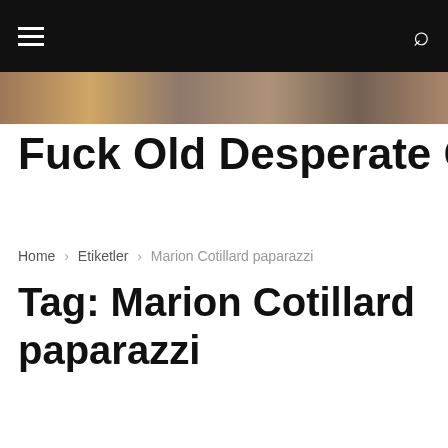[Figure (photo): Horizontal image strip showing partial thumbnails across the top]
Fuck Old Desperate Grannies In Your Ar
Home › Etiketler › Marion Cotillard paparazzi
Tag: Marion Cotillard paparazzi